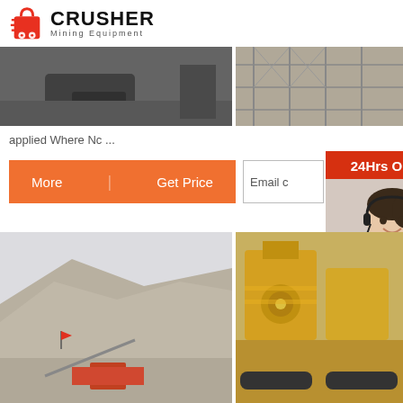[Figure (logo): Crusher Mining Equipment logo with red shopping bag icon and bold black CRUSHER text]
[Figure (photo): Two product/machinery photos side by side at top of page - left shows dark industrial equipment, right shows metal framework structure]
applied Where Nc ...
[Figure (screenshot): Orange button row with More and Get Price labels, an email input box, and a 24Hrs Online support widget with customer service representative photo, chat bubble, Need & suggestions text, Chat Now button, Enquiry section, and limingjlmofen@sina.com email]
[Figure (photo): Two photos side by side at bottom - left shows an open pit quarry mining site with dusty mountains, right shows yellow industrial crushing/processing machinery]